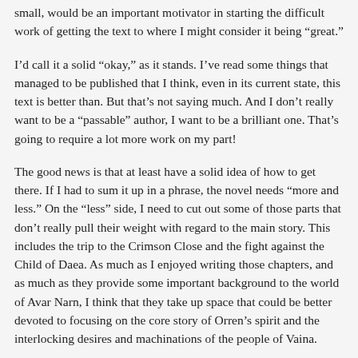small, would be an important motivator in starting the difficult work of getting the text to where I might consider it being “great.”
I’d call it a solid “okay,” as it stands. I’ve read some things that managed to be published that I think, even in its current state, this text is better than. But that’s not saying much. And I don’t really want to be a “passable” author, I want to be a brilliant one. That’s going to require a lot more work on my part!
The good news is that at least have a solid idea of how to get there. If I had to sum it up in a phrase, the novel needs “more and less.” On the “less” side, I need to cut out some of those parts that don’t really pull their weight with regard to the main story. This includes the trip to the Crimson Close and the fight against the Child of Daea. As much as I enjoyed writing those chapters, and as much as they provide some important background to the world of Avar Narn, I think that they take up space that could be better devoted to focusing on the core story of Orren’s spirit and the interlocking desires and machinations of the people of Vaina.